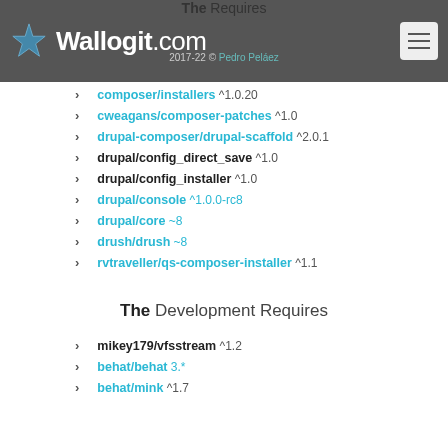The Requires
Wallogit.com
2017-22 © Pedro Peláez
composer/installers ^1.0.20
cweagans/composer-patches ^1.0
drupal-composer/drupal-scaffold ^2.0.1
drupal/config_direct_save ^1.0
drupal/config_installer ^1.0
drupal/console ^1.0.0-rc8
drupal/core ~8
drush/drush ~8
rvtraveller/qs-composer-installer ^1.1
The Development Requires
mikey179/vfsstream ^1.2
behat/behat 3.*
behat/mink ^1.7